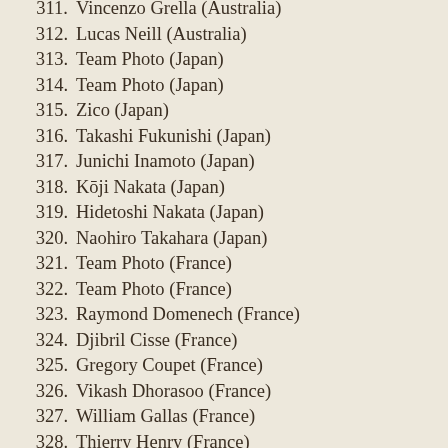311. Vincenzo Grella (Australia)
312. Lucas Neill (Australia)
313. Team Photo (Japan)
314. Team Photo (Japan)
315. Zico (Japan)
316. Takashi Fukunishi (Japan)
317. Junichi Inamoto (Japan)
318. Kōji Nakata (Japan)
319. Hidetoshi Nakata (Japan)
320. Naohiro Takahara (Japan)
321. Team Photo (France)
322. Team Photo (France)
323. Raymond Domenech (France)
324. Djibril Cisse (France)
325. Gregory Coupet (France)
326. Vikash Dhorasoo (France)
327. William Gallas (France)
328. Thierry Henry (France)
329. Claude Makelele (France)
330. Robert Pires (France)
331. Willy Sangol (France)
332. Lilian Thuram (France)
333. David Trezeguet (France)